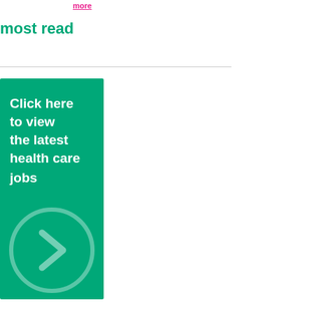more
most read
[Figure (infographic): Green banner advertisement with white bold text reading 'Click here to view the latest health care jobs' and a circular arrow/chevron icon at the bottom on a teal/green background]